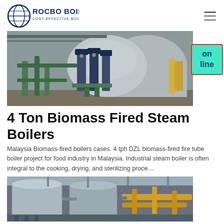ROCBO BOILER — COST-EFFECTIVE BOILER SUPPLIER
[Figure (photo): Industrial boiler room with large cylindrical steam boiler, green pipes, pump assemblies, and various valves and gauges]
4 Ton Biomass Fired Steam Boilers
Malaysia Biomass-fired boilers cases. 4 tph DZL biomass-fired fire tube boiler project for food industry in Malaysia. Industrial steam boiler is often integral to the cooking, drying, and sterilizing proce…
[Figure (photo): Industrial boiler installation with large cylindrical boiler units, yellow pipes, and connecting infrastructure inside a facility]